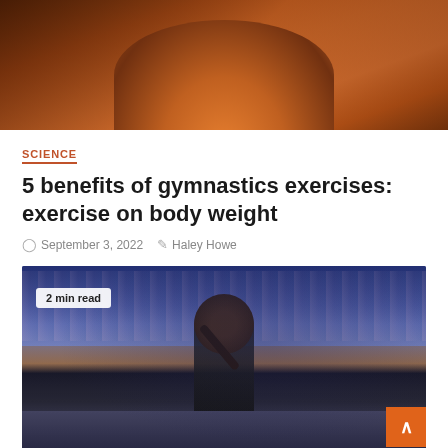[Figure (photo): Person exercising outdoors in warm sunset/orange light, partial torso view cropped at top]
SCIENCE
5 benefits of gymnastics exercises: exercise on body weight
September 3, 2022   Haley Howe
[Figure (photo): Serena Williams waving to crowd at US Open tennis stadium, wearing black outfit, crowd in background, '2 min read' badge overlay, orange scroll-to-top button]